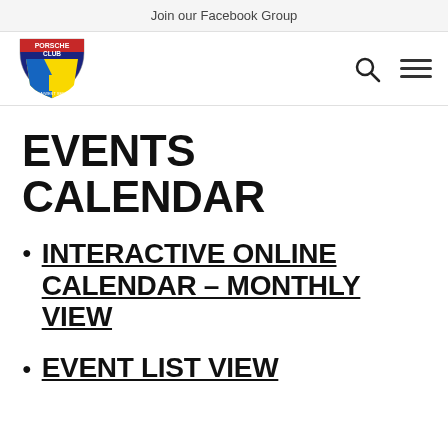Join our Facebook Group
[Figure (logo): Porsche Club of America - Aloha/West Section shield logo with red, blue, and yellow colors]
EVENTS CALENDAR
INTERACTIVE ONLINE CALENDAR – MONTHLY VIEW
EVENT LIST VIEW